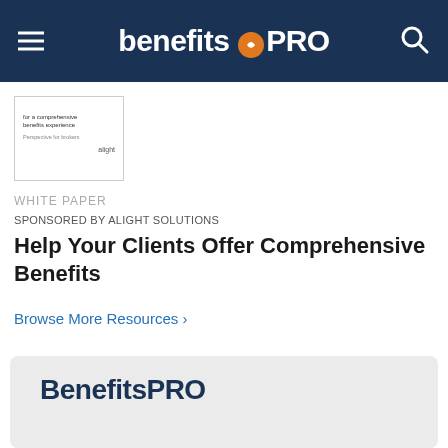benefitsPRO
[Figure (other): White paper thumbnail showing document cover for comprehensive benefits experience by Alight]
WHITE PAPER
SPONSORED BY ALIGHT SOLUTIONS
Help Your Clients Offer Comprehensive Benefits
Browse More Resources ›
[Figure (logo): BenefitsPRO logo in dark navy blue on light grey card background]